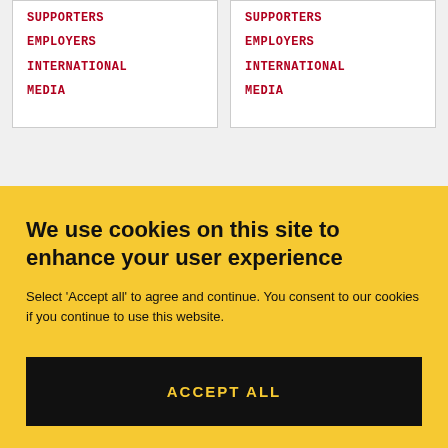SUPPORTERS
EMPLOYERS
INTERNATIONAL
MEDIA
SUPPORTERS
EMPLOYERS
INTERNATIONAL
MEDIA
[Figure (other): Red horizontal bar element inside a white card box (partial, bottom left)]
We use cookies on this site to enhance your user experience
Select 'Accept all' to agree and continue. You consent to our cookies if you continue to use this website.
ACCEPT ALL